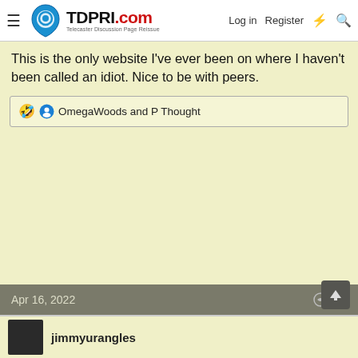TDPRI.com — Telecaster Discussion Page Reissue — Log in | Register
This is the only website I've ever been on where I haven't been called an idiot. Nice to be with peers.
🤣 OmegaWoods and P Thought
Apr 16, 2022  46
jimmyurangles